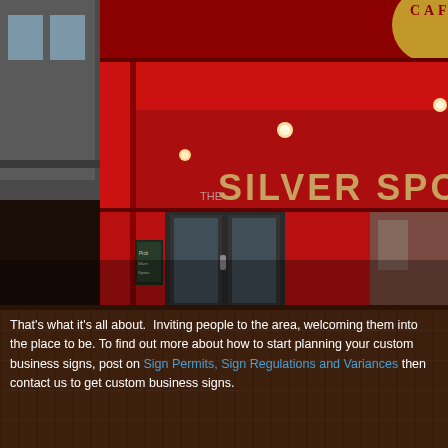[Figure (photo): Exterior photo of 'The Silver Spoon' cafe/restaurant with bright red facade, signage reading 'THE SILVER SPOON CAFE', recessed lighting under a red canopy, glass door entrance, and a chalkboard sign visible inside. The image is cropped showing the right portion of the storefront.]
That's what it's all about.  Inviting people to the area, welcoming them into the place to be. To find out more about how to start planning your custom business signs, post on Sign Permits, Sign Regulations and Variances then contact us to get custom business signs.